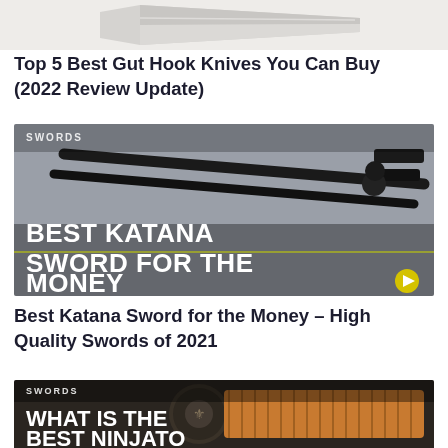[Figure (photo): Partial view of a knife blade cropped at top of page]
Top 5 Best Gut Hook Knives You Can Buy (2022 Review Update)
[Figure (photo): Dark katana swords against grey background with white bold text overlay reading BEST KATANA SWORD FOR THE MONEY and SWORDS label in top-left corner, yellow play button in bottom-right]
Best Katana Sword for the Money – High Quality Swords of 2021
[Figure (photo): Ninjato sword with round guard and wrapped handle against dark background, white bold text overlay reading WHAT IS THE BEST NINJATO YOU CAN BUY, SWORDS label in top-left corner]